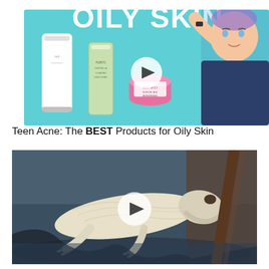[Figure (screenshot): YouTube video thumbnail for 'Teen Acne: The BEST Products for Oily Skin' showing skincare products (white tube, green tube, pink jar) on a teal background with a young man raising his hand to his forehead, and a white play button overlay. Text 'OILY SKIN' partially visible at top.]
Teen Acne: The BEST Products for Oily Skin
[Figure (screenshot): YouTube video thumbnail showing a pale, skeletal animal (possibly a marine mammal or large reptile) lying on a rocky, wet surface with dark water/debris, with a white play button overlay. The image appears to show a dead or distressed creature.]